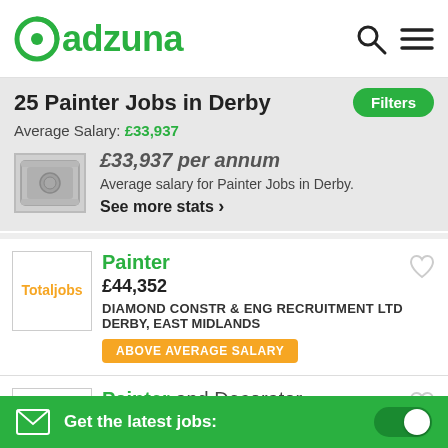[Figure (logo): Adzuna logo with green circular icon and green text 'adzuna', plus search and menu icons on the right]
25  Painter Jobs in Derby
Average Salary: £33,937
[Figure (infographic): Money/cash icon with striped salary card showing £33,937 per annum, average salary for Painter Jobs in Derby, and See more stats link]
£33,937 per annum
Average salary for Painter Jobs in Derby.
See more stats ›
[Figure (logo): Totaljobs logo box (orange text on white background)]
Painter
£44,352
DIAMOND CONSTR & ENG RECRUITMENT LTD
DERBY, EAST MIDLANDS
ABOVE AVERAGE SALARY
[Figure (logo): Totaljobs logo box (orange text on white background)]
Painter and Decorator
£39,134
Get the latest jobs: